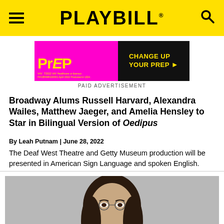PLAYBILL
[Figure (photo): PrEP pharmaceutical advertisement banner - magenta/pink background with yellow PrEP logo text and 'CHANGE UP YOUR PrEP' call to action on dark background]
PAID ADVERTISEMENT
Broadway Alums Russell Harvard, Alexandra Wailes, Matthew Jaeger, and Amelia Hensley to Star in Bilingual Version of Oedipus
By Leah Putnam | June 28, 2022
The Deaf West Theatre and Getty Museum production will be presented in American Sign Language and spoken English.
[Figure (photo): Photo of a woman with long dark hair wearing round glasses, photographed against a gray background]